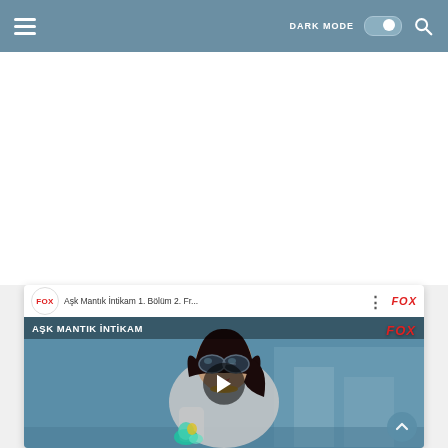Navigation header with hamburger menu, DARK MODE toggle, and search icon
[Figure (screenshot): YouTube-style video thumbnail for 'Aşk Mantık İntikam 1. Bölüm 2. Fr...' on FOX channel, showing a woman wearing sunglasses and a blazer, with a play button overlay and FOX branding.]